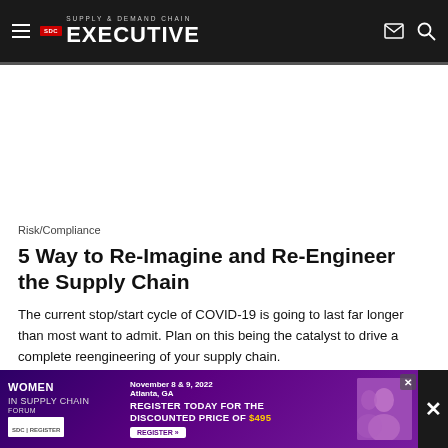Supply & Demand Chain Executive
Risk/Compliance
5 Way to Re-Imagine and Re-Engineer the Supply Chain
The current stop/start cycle of COVID-19 is going to last far longer than most want to admit. Plan on this being the catalyst to drive a complete reengineering of your supply chain.
Seraph | ... | December 4, 202...
[Figure (advertisement): Women in Supply Chain Forum advertisement. November 8 & 9, 2022, Atlanta, GA. Register Today for the Discounted Price of $495.]